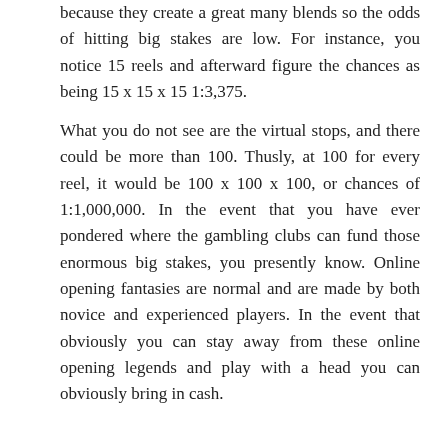because they create a great many blends so the odds of hitting big stakes are low. For instance, you notice 15 reels and afterward figure the chances as being 15 x 15 x 15 1:3,375.
What you do not see are the virtual stops, and there could be more than 100. Thusly, at 100 for every reel, it would be 100 x 100 x 100, or chances of 1:1,000,000. In the event that you have ever pondered where the gambling clubs can fund those enormous big stakes, you presently know. Online opening fantasies are normal and are made by both novice and experienced players. In the event that obviously you can stay away from these online opening legends and play with a head you can obviously bring in cash.